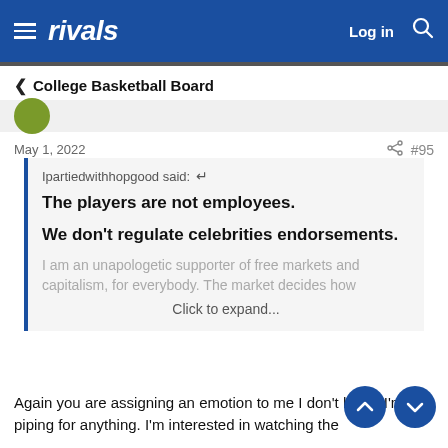rivals — Log in
< College Basketball Board
May 1, 2022  #95
Ipartiedwithhopgood said:
The players are not employees.
We don't regulate celebrities endorsements.
I am an unapologetic supporter of free markets and capitalism, for everybody. The market decides how
Click to expand...
Again you are assigning an emotion to me I don't have. I'm not piping for anything. I'm interested in watching the